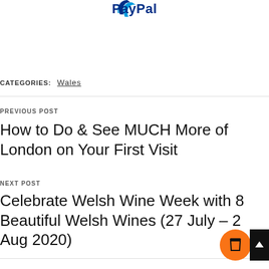[Figure (logo): PayPal logo with blue 'P' symbol and 'PayPal' text in dark blue]
CATEGORIES: Wales
PREVIOUS POST
How to Do & See MUCH More of London on Your First Visit
NEXT POST
Celebrate Welsh Wine Week with 8 Beautiful Welsh Wines (27 July – 2 Aug 2020)
[Figure (illustration): Orange circular button with coffee cup icon]
[Figure (other): Black square button with white upward arrow]